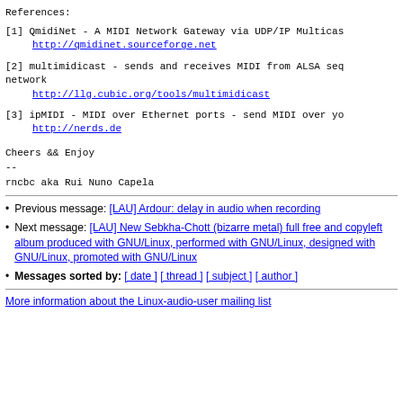References:
[1] QmidiNet - A MIDI Network Gateway via UDP/IP Multicas…
    http://qmidinet.sourceforge.net
[2] multimidicast - sends and receives MIDI from ALSA seq… network
    http://llg.cubic.org/tools/multimidicast
[3] ipMIDI - MIDI over Ethernet ports - send MIDI over yo…
    http://nerds.de
Cheers && Enjoy
--
rncbc aka Rui Nuno Capela
Previous message: [LAU] Ardour: delay in audio when recording
Next message: [LAU] New Sebkha-Chott (bizarre metal) full free and copyleft album produced with GNU/Linux, performed with GNU/Linux, designed with GNU/Linux, promoted with GNU/Linux
Messages sorted by: [ date ] [ thread ] [ subject ] [ author ]
More information about the Linux-audio-user mailing list